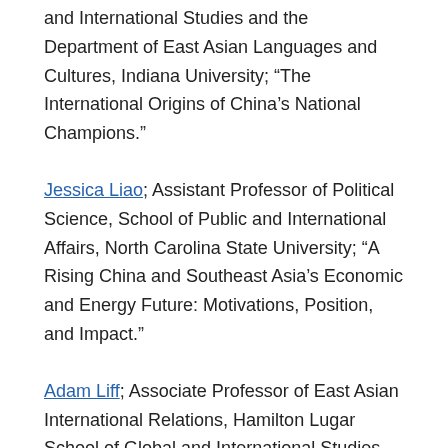and International Studies and the Department of East Asian Languages and Cultures, Indiana University; “The International Origins of China’s National Champions.”
Jessica Liao; Assistant Professor of Political Science, School of Public and International Affairs, North Carolina State University; “A Rising China and Southeast Asia’s Economic and Energy Future: Motivations, Position, and Impact.”
Adam Liff; Associate Professor of East Asian International Relations, Hamilton Lugar School of Global and International Studies, Indiana University; “The U.S.-Japan Alliance and Taiwan.”